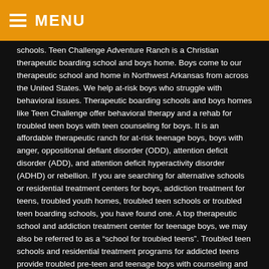MENU
schools. Teen Challenge Adventure Ranch is a Christian therapeutic boarding school and boys home. Boys come to our therapeutic school and home in Northwest Arkansas from across the United States. We help at-risk boys who struggle with behavioral issues. Therapeutic boarding schools and boys homes like Teen Challenge offer behavioral therapy and a rehab for troubled teen boys with teen counseling for boys. It is an affordable therapeutic ranch for at-risk teenage boys, boys with anger, oppositional defiant disorder (ODD), attention deficit disorder (ADD), and attention deficit hyperactivity disorder (ADHD) or rebellion. If you are searching for alternative schools or residential treatment centers for boys, addiction treatment for teens, troubled youth homes, troubled teen schools or troubled teen boarding schools, you have found one. A top therapeutic school and addiction treatment center for teenage boys, we may also be referred to as a “school for troubled teens”. Troubled teen schools and residential treatment programs for addicted teens provide troubled pre-teen and teenage boys with counseling and addiction treatment.
Boys Ranches in Lisle, Illinois
Boys Ranch with Wilderness and Adventure-Based Therapy, for Troubled Boys from Lisle, Illinois